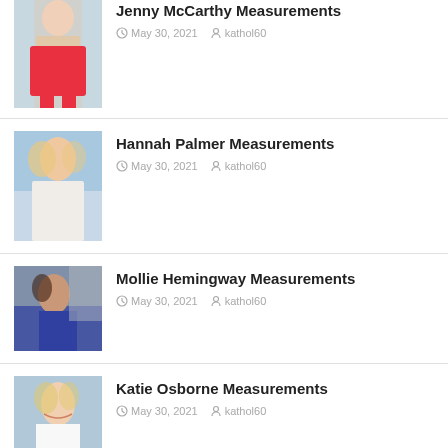[Figure (photo): Jenny McCarthy in red bikini, partial view at top of page]
Jenny McCarthy Measurements
May 30, 2021  kathol60
[Figure (photo): Hannah Palmer, blonde woman in white dress near beach]
Hannah Palmer Measurements
May 30, 2021  kathol60
[Figure (photo): Mollie Hemingway, dark-haired woman in blue top]
Mollie Hemingway Measurements
May 30, 2021  kathol60
[Figure (photo): Katie Osborne, blonde woman smiling in white top]
Katie Osborne Measurements
May 30, 2021  kathol60